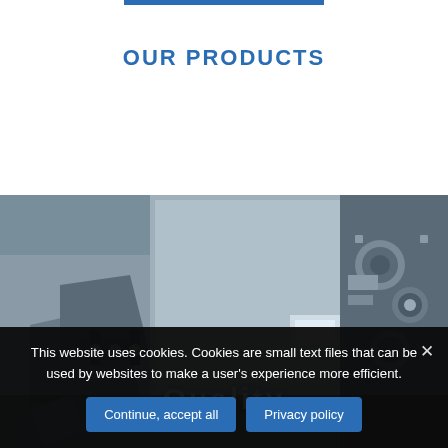OUR PRODUCTS
[Figure (photo): Industrial machinery close-up photograph with metallic components, clamps, and mechanical parts, shown in grayscale/blue-toned]
Quality
This website uses cookies. Cookies are small text files that can be used by websites to make a user's experience more efficient.